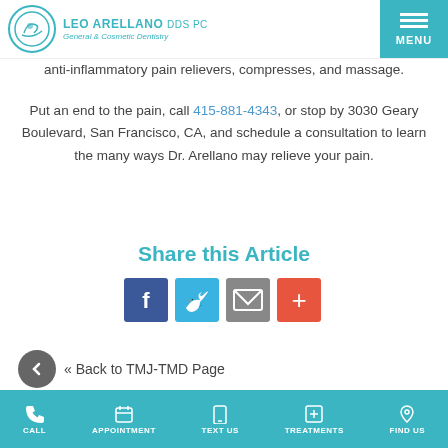Leo Arellano DDS PC — General & Cosmetic Dentistry
anti-inflammatory pain relievers, compresses, and massage.
Put an end to the pain, call 415-881-4343, or stop by 3030 Geary Boulevard, San Francisco, CA, and schedule a consultation to learn the many ways Dr. Arellano may relieve your pain.
Share this Article
[Figure (other): Social share buttons: Facebook, Twitter, Email, and a plus/share icon]
« Back to TMJ-TMD Page
CALL | APPOINTMENT | TEXT US | TREATMENTS | FIND US